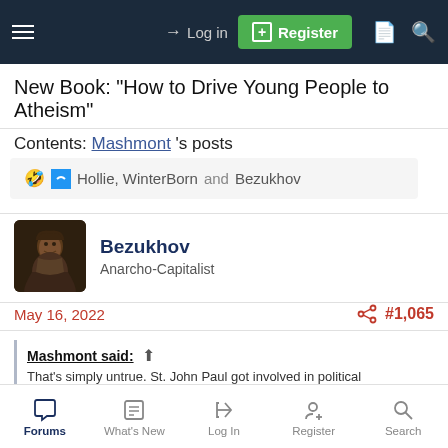Log in | Register
New Book: "How to Drive Young People to Atheism"
Contents: Mashmont 's posts
🤣 [react icon] Hollie, WinterBorn and Bezukhov
Bezukhov
Anarcho-Capitalist
May 16, 2022 | #1,065
Mashmont said: ↑
That's simply untrue. St. John Paul got involved in political
Forums | What's New | Log In | Register | Search